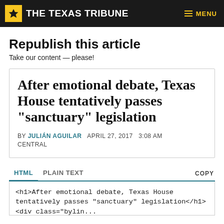THE TEXAS TRIBUNE  MENU
Republish this article
Take our content — please!
After emotional debate, Texas House tentatively passes "sanctuary" legislation
BY JULIÁN AGUILAR   APRIL 27, 2017   3:08 AM CENTRAL
HTML   PLAIN TEXT   COPY
<h1>After emotional debate, Texas House tentatively passes "sanctuary" legislation</h1>
<div class="bylin...